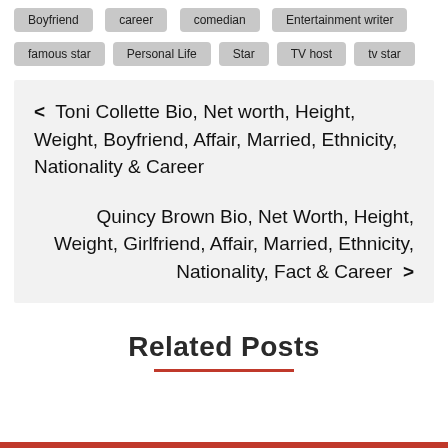Boyfriend
career
comedian
Entertainment writer
famous star
Personal Life
Star
TV host
tv star
< Toni Collette Bio, Net worth, Height, Weight, Boyfriend, Affair, Married, Ethnicity, Nationality & Career
Quincy Brown Bio, Net Worth, Height, Weight, Girlfriend, Affair, Married, Ethnicity, Nationality, Fact & Career >
Related Posts